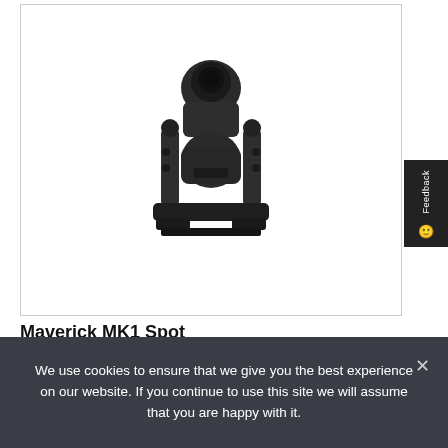[Figure (photo): Maverick MK1 Spot moving head stage lighting fixture, black color, front view, shown against white background inside a bordered box]
Maverick MK1 Spot
We use cookies to ensure that we give you the best experience on our website. If you continue to use this site we will assume that you are happy with it.